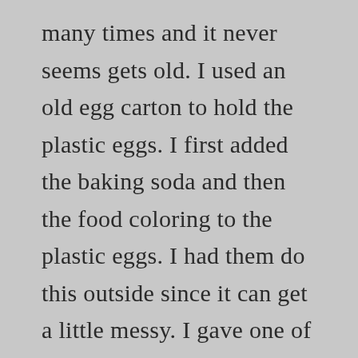many times and it never seems gets old. I used an old egg carton to hold the plastic eggs. I first added the baking soda and then the food coloring to the plastic eggs. I had them do this outside since it can get a little messy. I gave one of my boys a spray bottle and the other a water bottle filled with vinegar. They used these to spray the baking